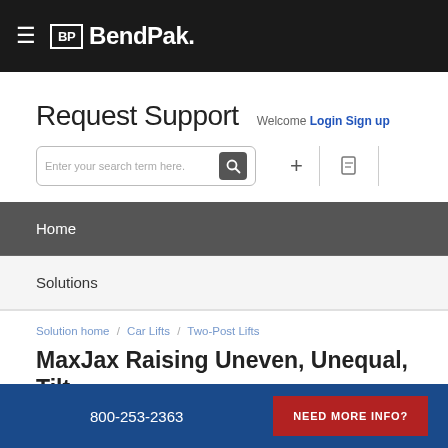BendPak
Request Support
Welcome Login Sign up
[Figure (screenshot): Search input field with text 'Enter your search term here.' and a search icon button, plus a + button and a document icon button]
Home
Solutions
Solution home / Car Lifts / Two-Post Lifts
MaxJax Raising Uneven, Unequal, Tilt
800-253-2363  NEED MORE INFO?